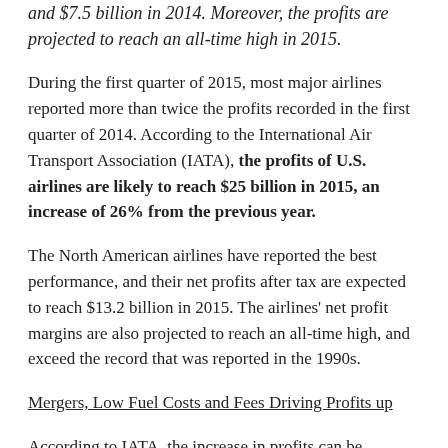and $7.5 billion in 2014. Moreover, the profits are projected to reach an all-time high in 2015.
During the first quarter of 2015, most major airlines reported more than twice the profits recorded in the first quarter of 2014. According to the International Air Transport Association (IATA), the profits of U.S. airlines are likely to reach $25 billion in 2015, an increase of 26% from the previous year.
The North American airlines have reported the best performance, and their net profits after tax are expected to reach $13.2 billion in 2015. The airlines' net profit margins are also projected to reach an all-time high, and exceed the record that was reported in the 1990s.
Mergers, Low Fuel Costs and Fees Driving Profits up
According to IATA, the increase in profits can be attributed to